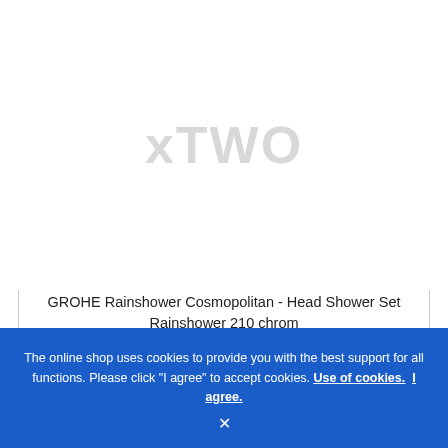[Figure (other): Product image placeholder showing xTWO watermark text in light gray on white background]
GROHE Rainshower Cosmopolitan - Head Shower Set Rainshower 210 chrom
DKK 6,017.91* DKK 2,492.36
Delivery time: omkring 1-2 uger
Article no.: 26171000
The online shop uses cookies to provide you with the best support for all functions. Please click "I agree" to accept cookies. Use of cookies. I agree.